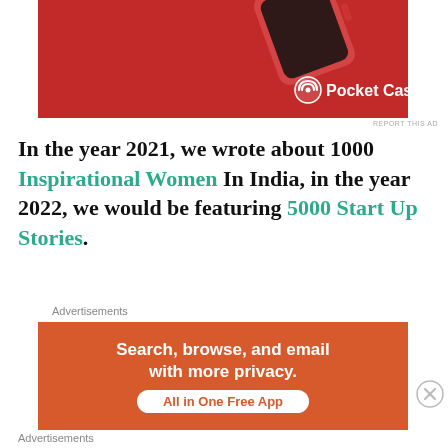[Figure (photo): Pocket Casts advertisement banner showing a red smartwatch device on a red background with the Pocket Casts logo in white in the bottom right corner]
In the year 2021, we wrote about 1000 Inspirational Women In India, in the year 2022, we would be featuring 5000 Start Up Stories.
Advertisements
[Figure (photo): Orange advertisement banner reading: Search, browse, and email with more privacy. All in One Free App]
Advertisements
[Figure (photo): Advertisement: Build a writing habit. Post on the go. GET THE APP with WordPress logo]